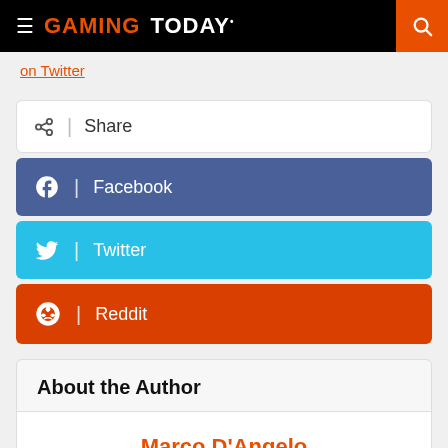GAMING TODAY
on Twitter
Share
Facebook
Twitter
Reddit
About the Author
Marco D'Angelo